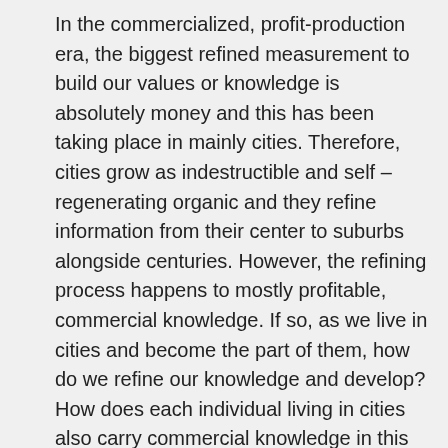In the commercialized, profit-production era, the biggest refined measurement to build our values or knowledge is absolutely money and this has been taking place in mainly cities. Therefore, cities grow as indestructible and self – regenerating organic and they refine information from their center to suburbs alongside centuries. However, the refining process happens to mostly profitable, commercial knowledge. If so, as we live in cities and become the part of them, how do we refine our knowledge and develop? How does each individual living in cities also carry commercial knowledge in this time that we are in? Theoretically, if each individual carries commercial knowledge and desires to be successful in the city, one needs to be different and create new ways to enter the closed door of established market.